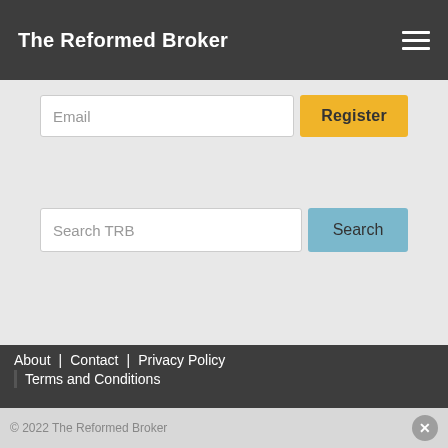The Reformed Broker
[Figure (screenshot): Email registration input field with placeholder text 'Email' and a yellow 'Register' button]
[Figure (screenshot): Search input field with placeholder text 'Search TRB' and a blue 'Search' button]
About | Contact | Privacy Policy | Terms and Conditions
© 2022 The Reformed Broker